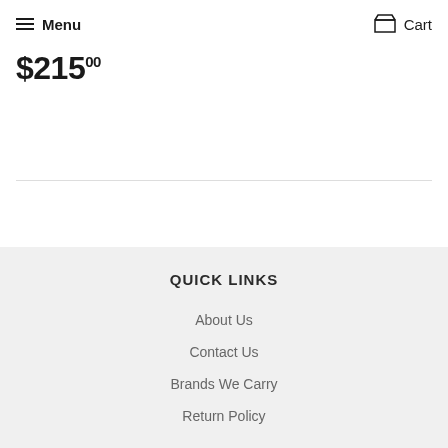Menu  Cart
$215.00
QUICK LINKS
About Us
Contact Us
Brands We Carry
Return Policy